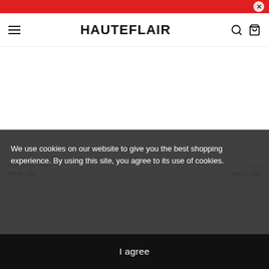HAUTEFLAIR
[Figure (screenshot): White product area with two product listings partially visible at bottom: left product with link text and price $82.95 USD, right product with link text ending in 'aqua' and price $82.91 USD]
We use cookies on our website to give you the best shopping experience. By using this site, you agree to its use of cookies.
I agree